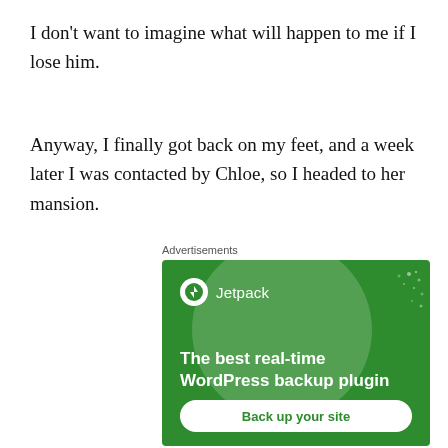I don't want to imagine what will happen to me if I lose him.
Anyway, I finally got back on my feet, and a week later I was contacted by Chloe, so I headed to her mansion.
Advertisements
[Figure (other): Jetpack advertisement banner with green background, Jetpack logo, headline 'The best real-time WordPress backup plugin', and a 'Back up your site' button.]